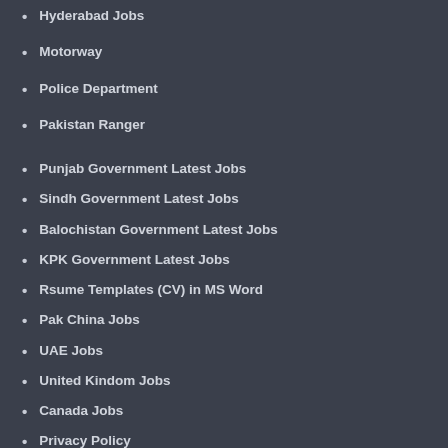Hyderabad Jobs
Motorway
Police Department
Pakistan Ranger
Punjab Government Latest Jobs
Sindh Government Latest Jobs
Balochistan Government Latest Jobs
KPK Government Latest Jobs
Rsume Templates (CV) in MS Word
Pak China Jobs
UAE Jobs
United Kindom Jobs
Canada Jobs
Privacy Policy
Terms & Conditions